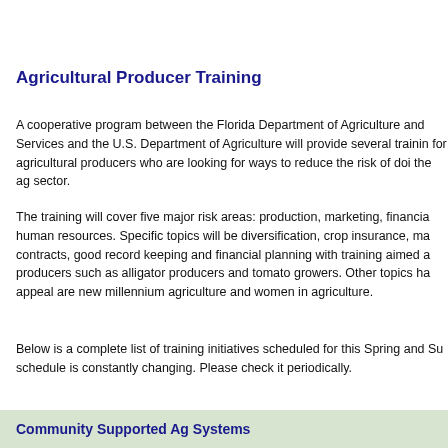Agricultural Producer Training
A cooperative program between the Florida Department of Agriculture and Services and the U.S. Department of Agriculture will provide several training for agricultural producers who are looking for ways to reduce the risk of doing business in the ag sector.
The training will cover five major risk areas: production, marketing, financial, human resources. Specific topics will be diversification, crop insurance, marketing contracts, good record keeping and financial planning with training aimed at specific producers such as alligator producers and tomato growers. Other topics having broad appeal are new millennium agriculture and women in agriculture.
Below is a complete list of training initiatives scheduled for this Spring and Summer. The schedule is constantly changing. Please check it periodically.
Community Supported Ag Systems